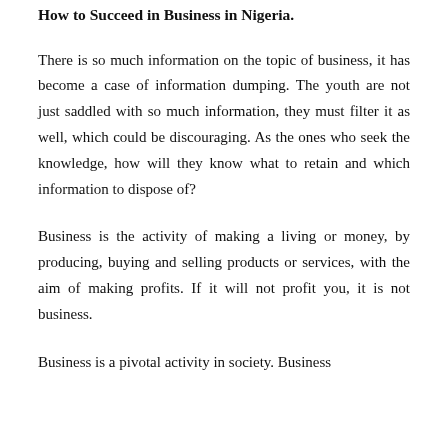How to Succeed in Business in Nigeria.
There is so much information on the topic of business, it has become a case of information dumping. The youth are not just saddled with so much information, they must filter it as well, which could be discouraging. As the ones who seek the knowledge, how will they know what to retain and which information to dispose of?
Business is the activity of making a living or money, by producing, buying and selling products or services, with the aim of making profits. If it will not profit you, it is not business.
Business is a pivotal activity in society. Business